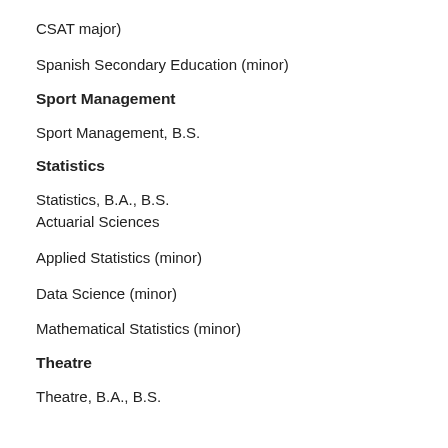CSAT major)
Spanish Secondary Education (minor)
Sport Management
Sport Management, B.S.
Statistics
Statistics, B.A., B.S.
Actuarial Sciences
Applied Statistics (minor)
Data Science (minor)
Mathematical Statistics (minor)
Theatre
Theatre, B.A., B.S.